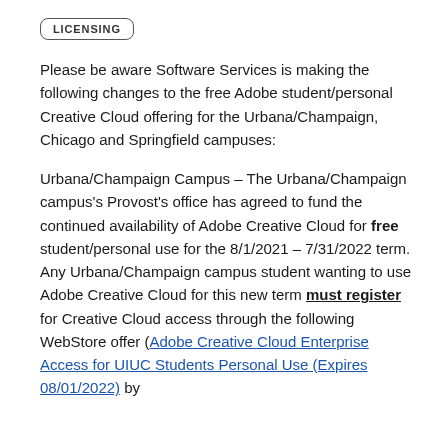LICENSING
Please be aware Software Services is making the following changes to the free Adobe student/personal Creative Cloud offering for the Urbana/Champaign, Chicago and Springfield campuses:
Urbana/Champaign Campus – The Urbana/Champaign campus's Provost's office has agreed to fund the continued availability of Adobe Creative Cloud for free student/personal use for the 8/1/2021 – 7/31/2022 term.  Any Urbana/Champaign campus student wanting to use Adobe Creative Cloud for this new term must register for Creative Cloud access through the following WebStore offer (Adobe Creative Cloud Enterprise Access for UIUC Students Personal Use (Expires 08/01/2022) by